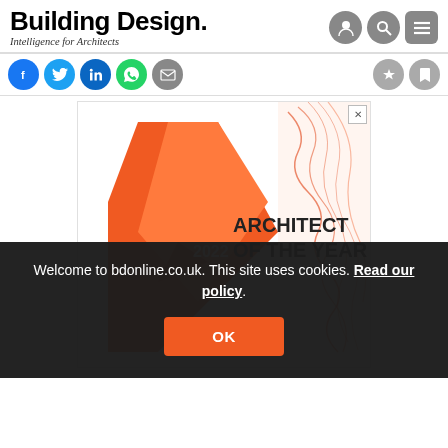Building Design. Intelligence for Architects
[Figure (screenshot): Social sharing buttons row: Facebook, Twitter, LinkedIn, WhatsApp, Email (left); bookmark and share icons (right)]
[Figure (illustration): Architect of the Year 2022 advertisement banner with orange geometric shapes and wavy red line pattern]
Welcome to bdonline.co.uk. This site uses cookies. Read our policy.
[Figure (other): OK button in orange for cookie consent]